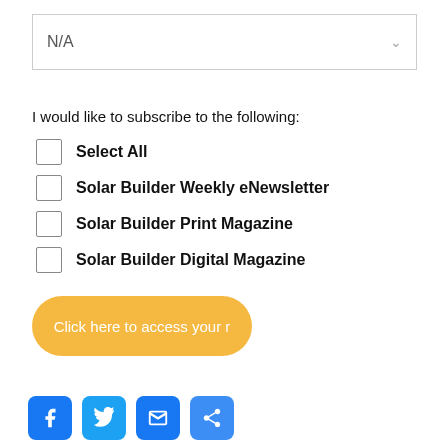[Figure (screenshot): Dropdown select box showing 'N/A' with a chevron arrow on the right]
I would like to subscribe to the following:
Select All
Solar Builder Weekly eNewsletter
Solar Builder Print Magazine
Solar Builder Digital Magazine
[Figure (screenshot): Yellow rounded button labeled 'Click here to access your r...']
[Figure (screenshot): Social sharing icons: Facebook, Twitter, Email, Share Plus]